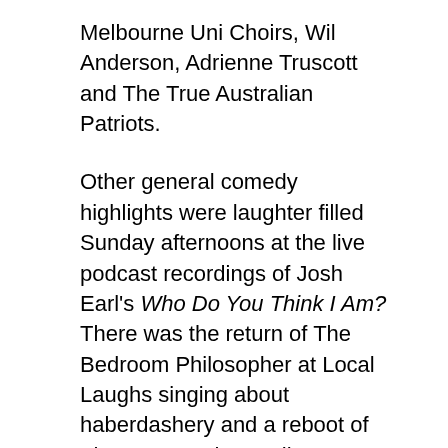Melbourne Uni Choirs, Wil Anderson, Adrienne Truscott and The True Australian Patriots.
Other general comedy highlights were laughter filled Sunday afternoons at the live podcast recordings of Josh Earl's Who Do You Think I Am? There was the return of The Bedroom Philosopher at Local Laughs singing about haberdashery and a reboot of The Doug Anthony Allstars. Tripod celebrated 20 years on stage with a gift of their songs in book form and performing them with guests on stage, ending the year with one of their best Christmas shows ever. The new exciting discoveries in 2016 included funny musical acts Jude Perl and Sarah Wall & Freya Long of The